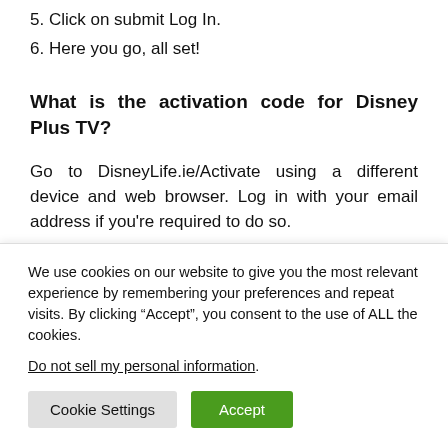5. Click on submit Log In.
6. Here you go, all set!
What is the activation code for Disney Plus TV?
Go to DisneyLife.ie/Activate using a different device and web browser. Log in with your email address if you’re required to do so.
We use cookies on our website to give you the most relevant experience by remembering your preferences and repeat visits. By clicking “Accept”, you consent to the use of ALL the cookies.
Do not sell my personal information.